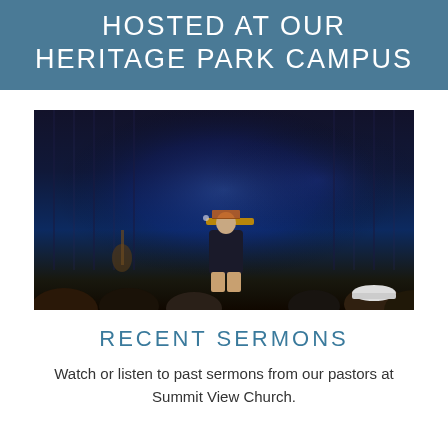HOSTED AT OUR HERITAGE PARK CAMPUS
[Figure (photo): A person standing at a wooden podium on a stage with dark blue curtains in the background and audience members visible in the foreground]
RECENT SERMONS
Watch or listen to past sermons from our pastors at Summit View Church.